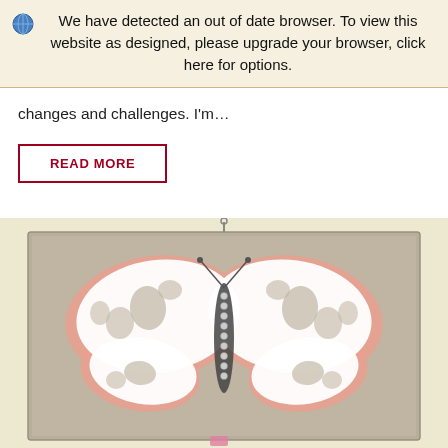We have detected an out of date browser. To view this website as designed, please upgrade your browser, click here for options.
changes and challenges. I'm…
READ MORE
[Figure (photo): A decorative butterfly sculpture mounted on a gray linen canvas panel. The butterfly is white with a salmon/coral colored border and features intricate cutout patterns. It is displayed on a cream/beige wall and has a metal hanger at the top.]